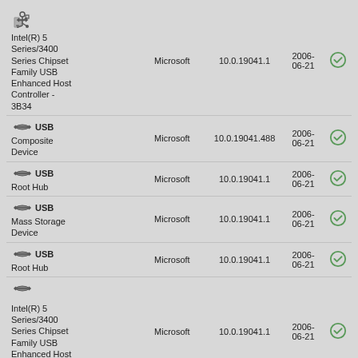| Device | Manufacturer | Version | Date | Status |
| --- | --- | --- | --- | --- |
| Intel(R) 5 Series/3400 Series Chipset Family USB Enhanced Host Controller - 3B34 | Microsoft | 10.0.19041.1 | 2006-06-21 | ✓ |
| USB Composite Device | Microsoft | 10.0.19041.488 | 2006-06-21 | ✓ |
| USB Root Hub | Microsoft | 10.0.19041.1 | 2006-06-21 | ✓ |
| USB Mass Storage Device | Microsoft | 10.0.19041.1 | 2006-06-21 | ✓ |
| USB Root Hub | Microsoft | 10.0.19041.1 | 2006-06-21 | ✓ |
| Intel(R) 5 Series/3400 Series Chipset Family USB Enhanced Host Controller - 3B3C | Microsoft | 10.0.19041.1 | 2006-06-21 | ✓ |